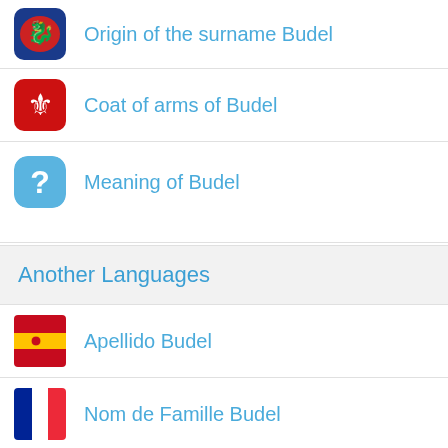Origin of the surname Budel
Coat of arms of Budel
Meaning of Budel
Another Languages
Apellido Budel
Nom de Famille Budel
Nachname Budel
Cognome Budel
Cognom Budel